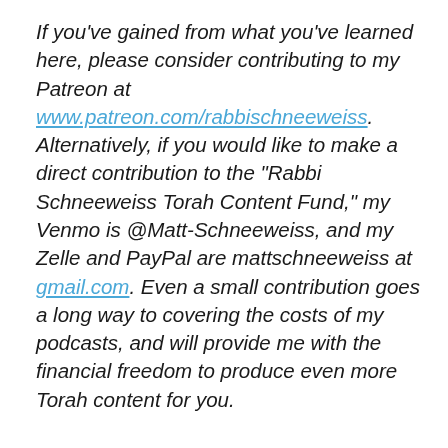If you've gained from what you've learned here, please consider contributing to my Patreon at www.patreon.com/rabbischneeweiss. Alternatively, if you would like to make a direct contribution to the "Rabbi Schneeweiss Torah Content Fund," my Venmo is @Matt-Schneeweiss, and my Zelle and PayPal are mattschneeweiss at gmail.com. Even a small contribution goes a long way to covering the costs of my podcasts, and will provide me with the financial freedom to produce even more Torah content for you.
If you would like to sponsor a day's or a week's worth of content, or if you are